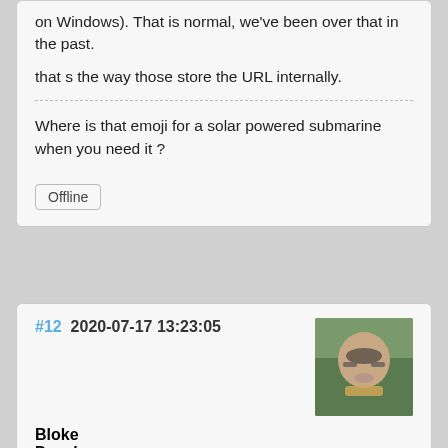on Windows). That is normal, we've been over that in the past.
that s the way those store the URL internally.
Where is that emoji for a solar powered submarine when you need it ?
Offline
#12  2020-07-17 13:23:05
Bloke
Developer
From: Leeds, UK
Registered: 2006-01-29
Posts: 10,750
[Figure (photo): Avatar photo of user Bloke, showing a person looking upward with glasses, outdoors.]